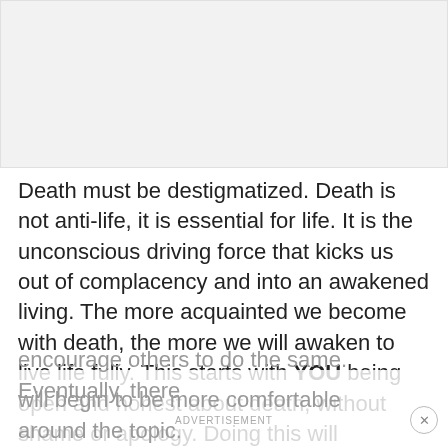[Figure (other): Blank light gray image placeholder area at the top of the page]
Death must be destigmatized. Death is not anti-life, it is essential for life. It is the unconscious driving force that kicks us out of complacency and into an awakened living. The more acquainted we become with death, the more we will awaken to live life fully. This starts with YOU being open and honest about death, without shame or apology. Doing this will encourage others to do the same. Eventually, there will begin to be more comfortable around the topic.
ADVERTISEMENT